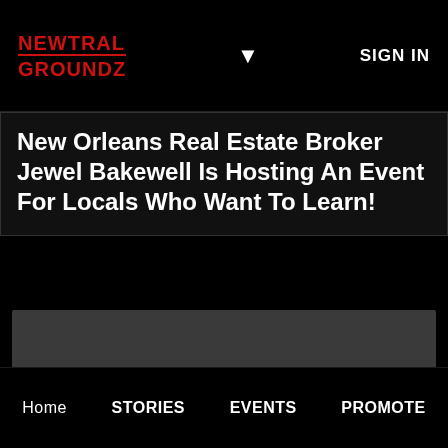NEWTRAL GROUNDZ | SIGN IN
New Orleans Real Estate Broker Jewel Bakewell Is Hosting An Event For Locals Who Want To Learn!
[Figure (photo): Dark gray image placeholder area with a back-to-top arrow button in the lower right corner]
Home  STORIES  EVENTS  PROMOTE